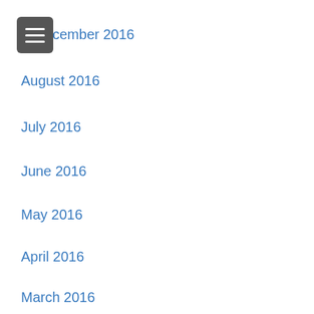[Figure (other): Hamburger menu button (three horizontal lines on dark grey rounded rectangle background)]
December 2016
August 2016
July 2016
June 2016
May 2016
April 2016
March 2016
Categories
Contour Method
Corporate
Fatigue Analysis
General Interest
Hole Drilling
[Figure (other): Google reCAPTCHA badge with blue recycling arrows logo and Privacy/Terms text]